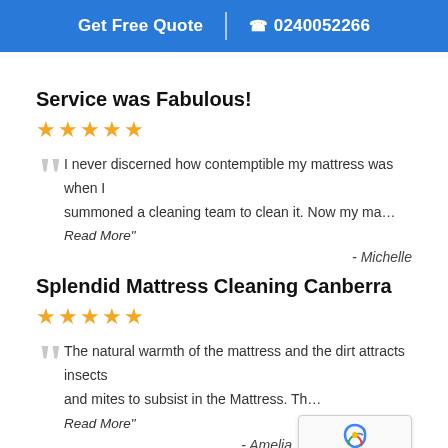Get Free Quote | 0240052266
Service was Fabulous!
★★★★★
I never discerned how contemptible my mattress was when I summoned a cleaning team to clean it. Now my ma...
Read More"
- Michelle
Splendid Mattress Cleaning Canberra
★★★★★
The natural warmth of the mattress and the dirt attracts insects and mites to subsist in the Mattress. Th...
Read More"
- Ameli...